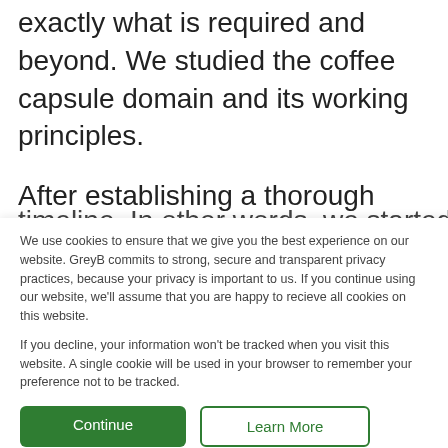exactly what is required and beyond. We studied the coffee capsule domain and its working principles.
After establishing a thorough understanding, we initiated our search by considering key features individually and making all possible relevant combinations of sub-key features in a predecided timeline. In other words, we started both active and...
We use cookies to ensure that we give you the best experience on our website. GreyB commits to strong, secure and transparent privacy practices, because your privacy is important to us. If you continue using our website, we'll assume that you are happy to recieve all cookies on this website.

If you decline, your information won't be tracked when you visit this website. A single cookie will be used in your browser to remember your preference not to be tracked.